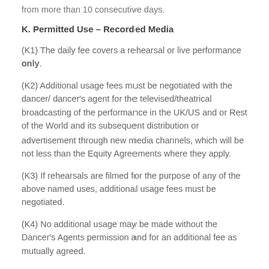from more than 10 consecutive days.
K. Permitted Use – Recorded Media
(K1) The daily fee covers a rehearsal or live performance only.
(K2) Additional usage fees must be negotiated with the dancer/ dancer's agent for the televised/theatrical broadcasting of the performance in the UK/US and or Rest of the World and its subsequent distribution or advertisement through new media channels, which will be not less than the Equity Agreements where they apply.
(K3) If rehearsals are filmed for the purpose of any of the above named uses, additional usage fees must be negotiated.
(K4) No additional usage may be made without the Dancer's Agents permission and for an additional fee as mutually agreed.